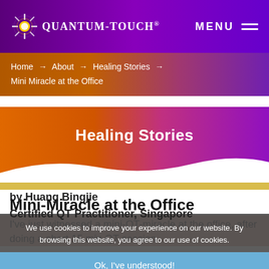QUANTUM-TOUCH® MENU
Home → About → Healing Stories → Mini Miracle at the Office
Healing Stories
Mini-Miracle at the Office
by Huang Bingjie
Certified QT Practitioner, Singapore
I've just witnessed a mini-QT-miracle at the office, after doing a short 15 min QT session
We use cookies to improve your experience on our website. By browsing this website, you agree to our use of cookies.
Ok, I've understood!
Decline